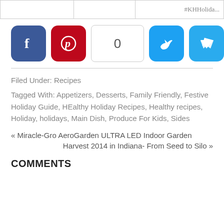|  |  | #KHHolida... |
[Figure (other): Social sharing buttons: Facebook, Pinterest, count box showing 0, Twitter, Telegram]
Filed Under: Recipes
Tagged With: Appetizers, Desserts, Family Friendly, Festive Holiday Guide, HEalthy Holiday Recipes, Healthy recipes, Holiday, holidays, Main Dish, Produce For Kids, Sides
« Miracle-Gro AeroGarden ULTRA LED Indoor Garden
Harvest 2014 in Indiana- From Seed to Silo »
COMMENTS